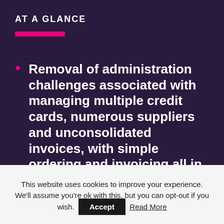AT A GLANCE
Removal of administration challenges associated with managing multiple credit cards, numerous suppliers and unconsolidated invoices, with simple ordering and invoicing all in one place.
This website uses cookies to improve your experience. We'll assume you're ok with this, but you can opt-out if you wish. Accept Read More